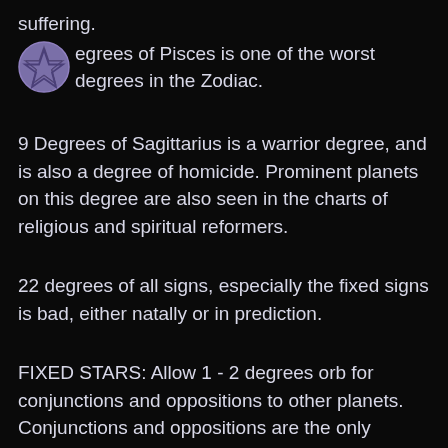suffering.
[Figure (illustration): Purple circle with pentagram (five-pointed star) symbol inside]
egrees of Pisces is one of the worst degrees in the Zodiac.
9 Degrees of Sagittarius is a warrior degree, and is also a degree of homicide. Prominent planets on this degree are also seen in the charts of religious and spiritual reformers.
22 degrees of all signs, especially the fixed signs is bad, either natally or in prediction.
FIXED STARS: Allow 1 - 2 degrees orb for conjunctions and oppositions to other planets. Conjunctions and oppositions are the only aspects that matter, with conjunctions being most important. The following interpretations concern when a fixed star is conjunct a